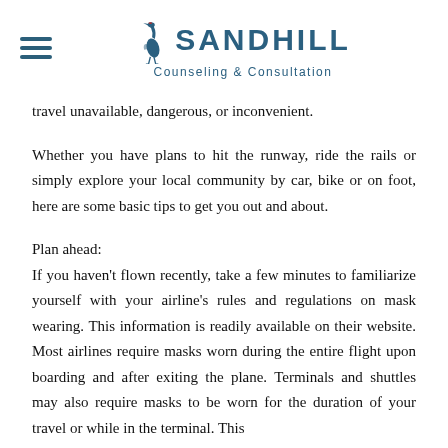SANDHILL Counseling & Consultation
travel unavailable, dangerous, or inconvenient.
Whether you have plans to hit the runway, ride the rails or simply explore your local community by car, bike or on foot, here are some basic tips to get you out and about.
Plan ahead:
If you haven't flown recently, take a few minutes to familiarize yourself with your airline's rules and regulations on mask wearing. This information is readily available on their website. Most airlines require masks worn during the entire flight upon boarding and after exiting the plane. Terminals and shuttles may also require masks to be worn for the duration of your travel or while in the terminal. This